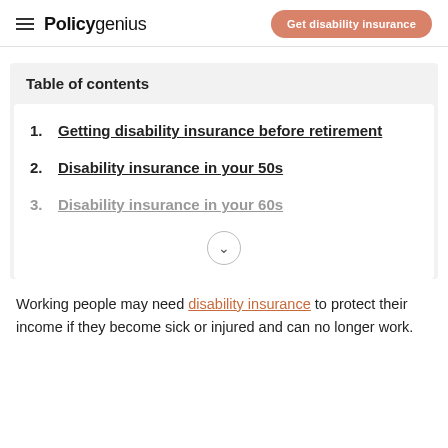Policygenius | Get disability insurance
Table of contents
1. Getting disability insurance before retirement
2. Disability insurance in your 50s
3. Disability insurance in your 60s
Working people may need disability insurance to protect their income if they become sick or injured and can no longer work.